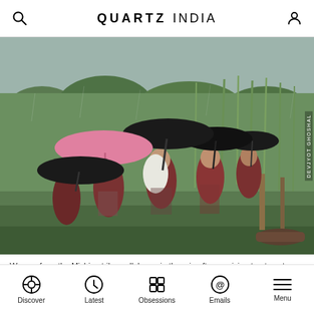QUARTZ INDIA
[Figure (photo): Women from the Mishing tribe walking in the rain through a green grassy field carrying umbrellas — black and pink — after receiving treatment on MV Akha. Dense green vegetation and bamboo in the background under a grey sky.]
Women from the Mishing tribe walk home in the rain after receiving treatment on MV Akha.
Discover  Latest  Obsessions  Emails  Menu